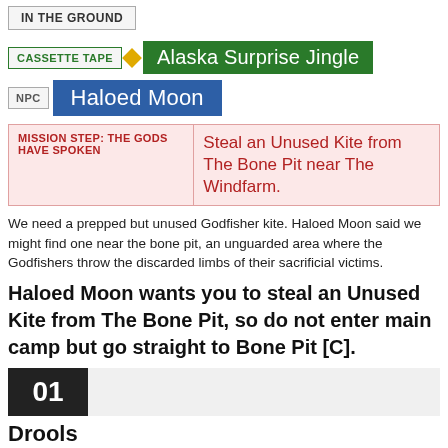IN THE GROUND
CASSETTE TAPE ◆ Alaska Surprise Jingle
NPC Haloed Moon
| MISSION STEP: THE GODS HAVE SPOKEN |  |
| --- | --- |
| MISSION STEP: THE GODS HAVE SPOKEN | Steal an Unused Kite from The Bone Pit near The Windfarm. |
We need a prepped but unused Godfisher kite. Haloed Moon said we might find one near the bone pit, an unguarded area where the Godfishers throw the discarded limbs of their sacrificial victims.
Haloed Moon wants you to steal an Unused Kite from The Bone Pit, so do not enter main camp but go straight to Bone Pit [C].
01
Drools
ENEMY Drools Kill them and go on